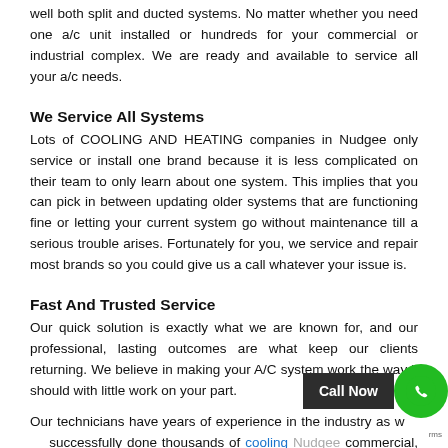well both split and ducted systems. No matter whether you need one a/c unit installed or hundreds for your commercial or industrial complex. We are ready and available to service all your a/c needs.
We Service All Systems
Lots of COOLING AND HEATING companies in Nudgee only service or install one brand because it is less complicated on their team to only learn about one system. This implies that you can pick in between updating older systems that are functioning fine or letting your current system go without maintenance till a serious trouble arises. Fortunately for you, we service and repair most brands so you could give us a call whatever your issue is.
Fast And Trusted Service
Our quick solution is exactly what we are known for, and our professional, lasting outcomes are what keep our clients returning. We believe in making your A/C system work the way it should with little work on your part.
Our technicians have years of experience in the industry as well as successfully done thousands of cooling and heating Nudgee commercial, industrial and domestic systems. We provide unb... advise for free that would save you cash and decrease your down...